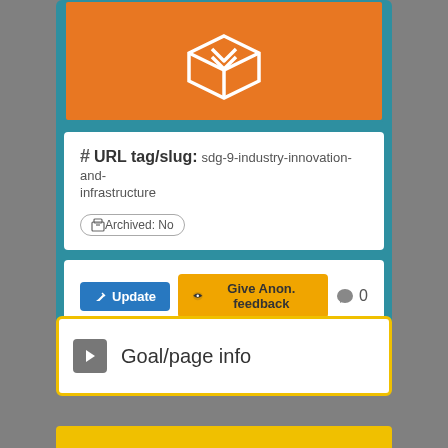[Figure (illustration): Orange box with white download/unbox arrows icon inside a teal-bordered card]
# URL tag/slug: sdg-9-industry-innovation-and-infrastructure
Archived: No
Update  Give Anon. feedback  0
dates & users
Goal/page info